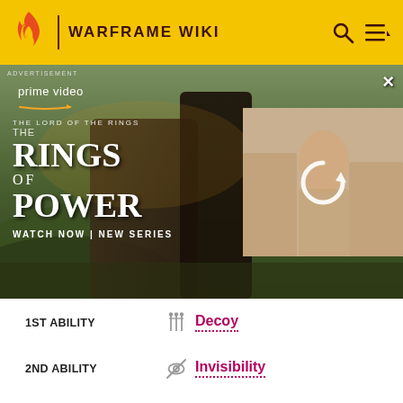WARFRAME WIKI
[Figure (screenshot): Amazon Prime Video advertisement for The Lord of the Rings: The Rings of Power - Watch Now | New Series]
1ST ABILITY  Decoy
2ND ABILITY  Invisibility
3RD ABILITY  Switch Teleport
4TH ABILITY  Radial Disarm
GENERAL INFORMATION